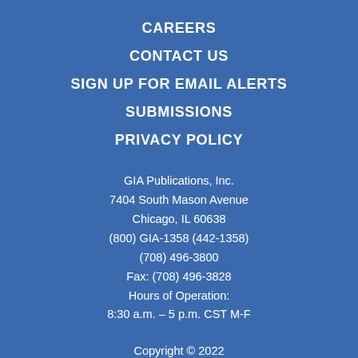CAREERS
CONTACT US
SIGN UP FOR EMAIL ALERTS
SUBMISSIONS
PRIVACY POLICY
GIA Publications, Inc.
7404 South Mason Avenue
Chicago, IL 60638
(800) GIA-1358 (442-1358)
(708) 496-3800
Fax: (708) 496-3828
Hours of Operation:
8:30 a.m. – 5 p.m. CST M-F
Copyright © 2022
GIA Publications, Inc.;